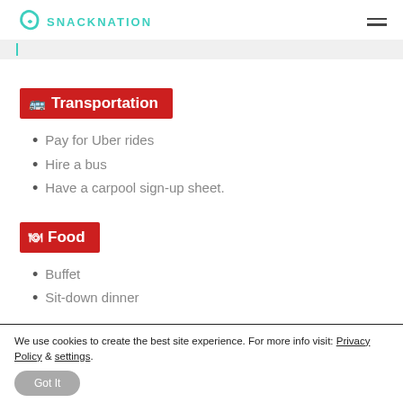SNACKNATION
🚌 Transportation
Pay for Uber rides
Hire a bus
Have a carpool sign-up sheet.
🍽 Food
Buffet
Sit-down dinner
We use cookies to create the best site experience. For more info visit: Privacy Policy & settings.
Got It